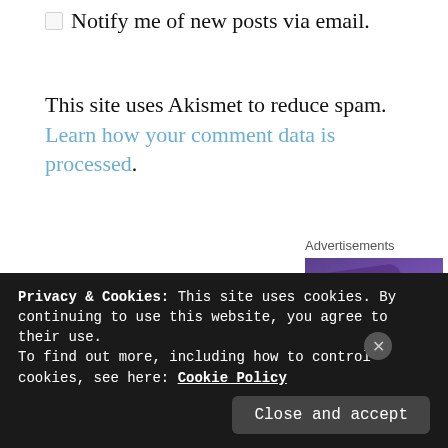Notify me of new posts via email.
This site uses Akismet to reduce spam. Learn how your comment data is processed.
Advertisements
[Figure (logo): WooCommerce logo on purple gradient background]
Privacy & Cookies: This site uses cookies. By continuing to use this website, you agree to their use. To find out more, including how to control cookies, see here: Cookie Policy